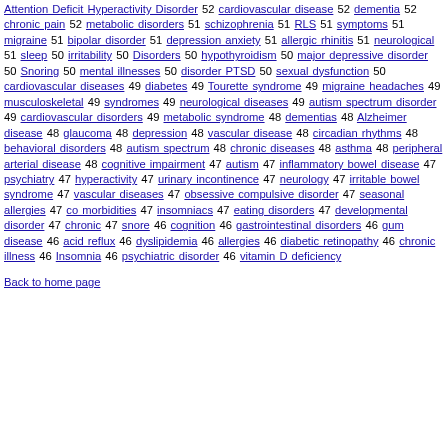Attention Deficit Hyperactivity Disorder 52 cardiovascular disease 52 dementia 52 chronic pain 52 metabolic disorders 51 schizophrenia 51 RLS 51 symptoms 51 migraine 51 bipolar disorder 51 depression anxiety 51 allergic rhinitis 51 neurological 51 sleep 50 irritability 50 Disorders 50 hypothyroidism 50 major depressive disorder 50 Snoring 50 mental illnesses 50 disorder PTSD 50 sexual dysfunction 50 cardiovascular diseases 49 diabetes 49 Tourette syndrome 49 migraine headaches 49 musculoskeletal 49 syndromes 49 neurological diseases 49 autism spectrum disorder 49 cardiovascular disorders 49 metabolic syndrome 48 dementias 48 Alzheimer disease 48 glaucoma 48 depression 48 vascular disease 48 circadian rhythms 48 behavioral disorders 48 autism spectrum 48 chronic diseases 48 asthma 48 peripheral arterial disease 48 cognitive impairment 47 autism 47 inflammatory bowel disease 47 psychiatry 47 hyperactivity 47 urinary incontinence 47 neurology 47 irritable bowel syndrome 47 vascular diseases 47 obsessive compulsive disorder 47 seasonal allergies 47 co morbidities 47 insomniacs 47 eating disorders 47 developmental disorder 47 chronic 47 snore 46 cognition 46 gastrointestinal disorders 46 gum disease 46 acid reflux 46 dyslipidemia 46 allergies 46 diabetic retinopathy 46 chronic illness 46 Insomnia 46 psychiatric disorder 46 vitamin D deficiency
Back to home page